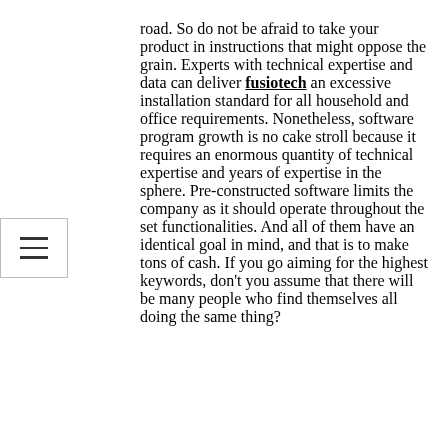road. So do not be afraid to take your product in instructions that might oppose the grain. Experts with technical expertise and data can deliver fusiotech an excessive installation standard for all household and office requirements. Nonetheless, software program growth is no cake stroll because it requires an enormous quantity of technical expertise and years of expertise in the sphere. Pre-constructed software limits the company as it should operate throughout the set functionalities. And all of them have an identical goal in mind, and that is to make tons of cash. If you go aiming for the highest keywords, don't you assume that there will be many people who find themselves all doing the same thing?